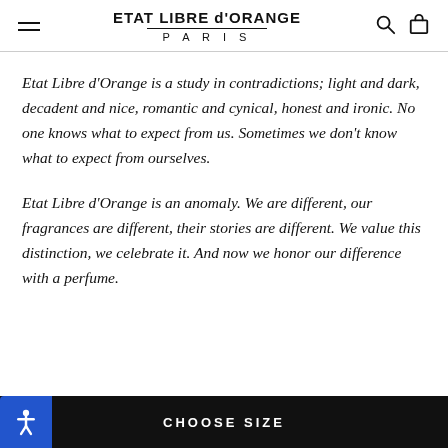ETAT LIBRE d'ORANGE PARIS
Etat Libre d’Orange is a study in contradictions; light and dark, decadent and nice, romantic and cynical, honest and ironic. No one knows what to expect from us. Sometimes we don’t know what to expect from ourselves.
Etat Libre d’Orange is an anomaly. We are different, our fragrances are different, their stories are different. We value this distinction, we celebrate it. And now we honor our difference with a perfume.
CHOOSE SIZE